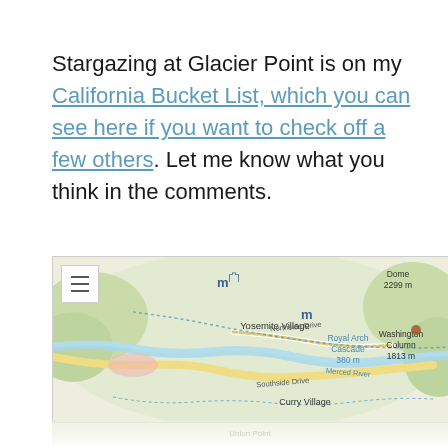Stargazing at Glacier Point is on my California Bucket List, which you can see here if you want to check off a few others. Let me know what you think in the comments.
[Figure (map): OpenStreetMap showing Yosemite Valley area including Yosemite Village, Royal Arch Cascade (380 m), Washington Column (1813 m), Dome (2299 m), Northside Drive, Southside Drive, Curry Village, and Merced River. A hamburger menu icon appears in the top left corner.]